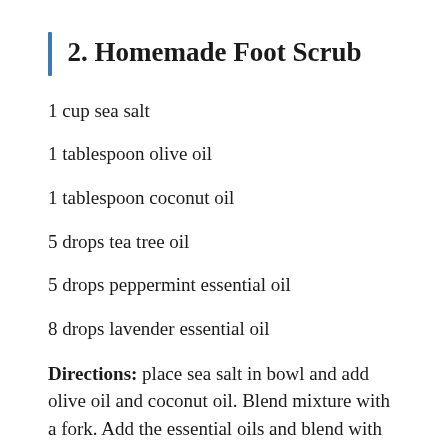2. Homemade Foot Scrub
1 cup sea salt
1 tablespoon olive oil
1 tablespoon coconut oil
5 drops tea tree oil
5 drops peppermint essential oil
8 drops lavender essential oil
Directions: place sea salt in bowl and add olive oil and coconut oil. Blend mixture with a fork. Add the essential oils and blend with other ingredients